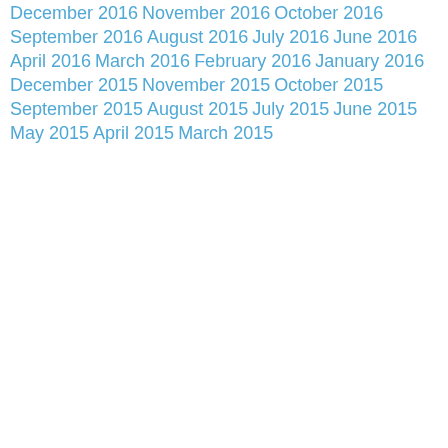December 2016
November 2016
October 2016
September 2016
August 2016
July 2016
June 2016
April 2016
March 2016
February 2016
January 2016
December 2015
November 2015
October 2015
September 2015
August 2015
July 2015
June 2015
May 2015
April 2015
March 2015